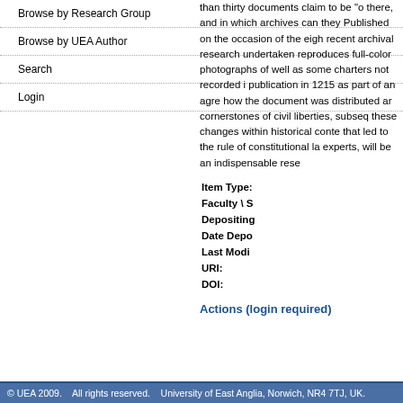Browse by Research Group
Browse by UEA Author
Search
Login
than thirty documents claim to be “o... there, and in which archives can they... Published on the occasion of the eigh... recent archival research undertaken... reproduces full-color photographs of... well as some charters not recorded i... publication in 1215 as part of an agre... how the document was distributed ar... cornerstones of civil liberties, subseq... these changes within historical conte... that led to the rule of constitutional la... experts, will be an indispensable rese...
| Field | Value |
| --- | --- |
| Item Type: |  |
| Faculty \ S |  |
| Depositing |  |
| Date Depo |  |
| Last Modi |  |
| URI: |  |
| DOI: |  |
Actions (login required)
© UEA 2009.    All rights reserved.    University of East Anglia, Norwich, NR4 7TJ, UK.